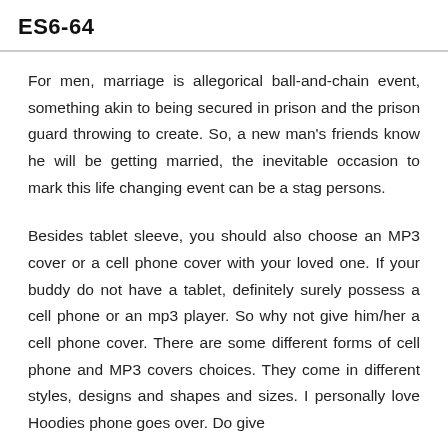ES6-64
For men, marriage is allegorical ball-and-chain event, something akin to being secured in prison and the prison guard throwing to create. So, a new man's friends know he will be getting married, the inevitable occasion to mark this life changing event can be a stag persons.
Besides tablet sleeve, you should also choose an MP3 cover or a cell phone cover with your loved one. If your buddy do not have a tablet, definitely surely possess a cell phone or an mp3 player. So why not give him/her a cell phone cover. There are some different forms of cell phone and MP3 covers choices. They come in different styles, designs and shapes and sizes. I personally love Hoodies phone goes over. Do give